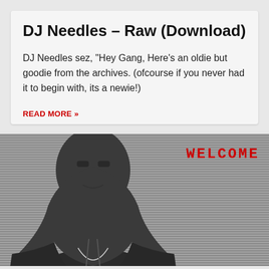DJ Needles – Raw (Download)
DJ Needles sez, "Hey Gang, Here's an oldie but goodie from the archives. (ofcourse if you never had it to begin with, its a newie!)
READ MORE »
[Figure (photo): Banner image showing a man in a dark hoodie leaning forward, black and white/desaturated photo. Right side has horizontal stripe lines pattern with red 'WELCOME' text overlay.]